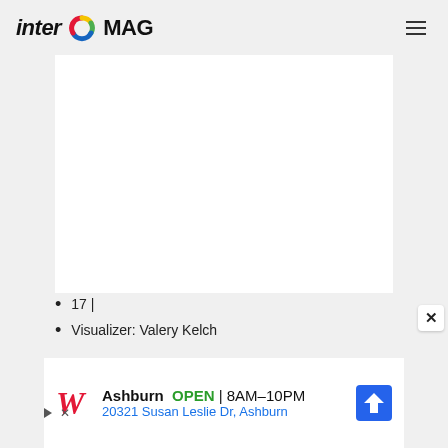inter MAG
[Figure (illustration): White rectangular content card area, blank/empty]
17 |
Visualizer: Valery Kelch
[Figure (infographic): Walgreens advertisement banner: Ashburn OPEN 8AM-10PM, 20321 Susan Leslie Dr, Ashburn, with navigation icon]